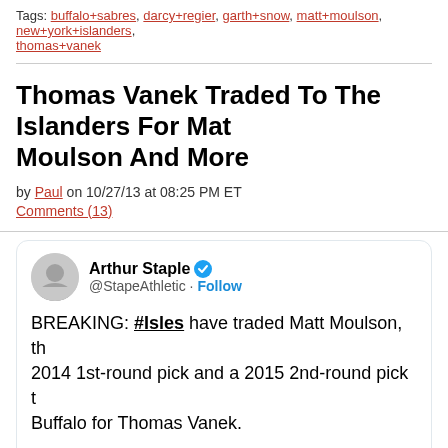Tags: buffalo+sabres, darcy+regier, garth+snow, matt+moulson, new+york+islanders, thomas+vanek
Thomas Vanek Traded To The Islanders For Matt Moulson And More
by Paul on 10/27/13 at 08:25 PM ET
Comments (13)
[Figure (screenshot): Embedded tweet from Arthur Staple (@StapeAthletic) with verified badge and Follow button. Tweet text: BREAKING: #Isles have traded Matt Moulson, th... 2014 1st-round pick and a 2015 2nd-round pick t... Buffalo for Thomas Vanek. Timestamp: 12:23 AM · Oct 28, 2013. Actions: 313 likes, Reply, Copy link. Read 281 replies button.]
added 8:30pm,